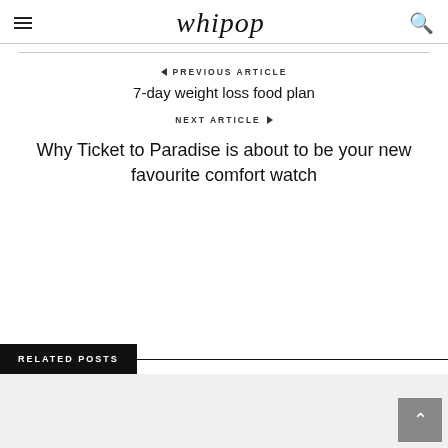whipop
PREVIOUS ARTICLE
7-day weight loss food plan
NEXT ARTICLE
Why Ticket to Paradise is about to be your new favourite comfort watch
RELATED POSTS